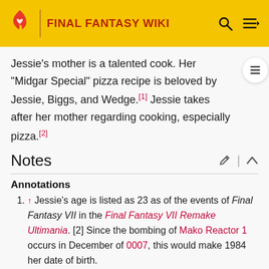FINAL FANTASY WIKI
Jessie's mother is a talented cook. Her "Midgar Special" pizza recipe is beloved by Jessie, Biggs, and Wedge.[1] Jessie takes after her mother regarding cooking, especially pizza.[2]
Notes
Annotations
↑ Jessie's age is listed as 23 as of the events of Final Fantasy VII in the Final Fantasy VII Remake Ultimania. [2] Since the bombing of Mako Reactor 1 occurs in December of 0007, this would make 1984 her date of birth.
Citations